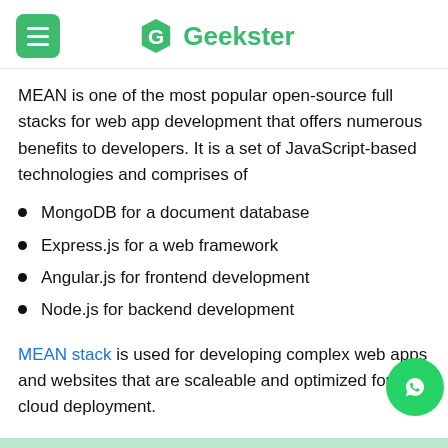Geekster
MEAN is one of the most popular open-source full stacks for web app development that offers numerous benefits to developers. It is a set of JavaScript-based technologies and comprises of
MongoDB for a document database
Express.js for a web framework
Angular.js for frontend development
Node.js for backend development
MEAN stack is used for developing complex web apps and websites that are scaleable and optimized for cloud deployment.